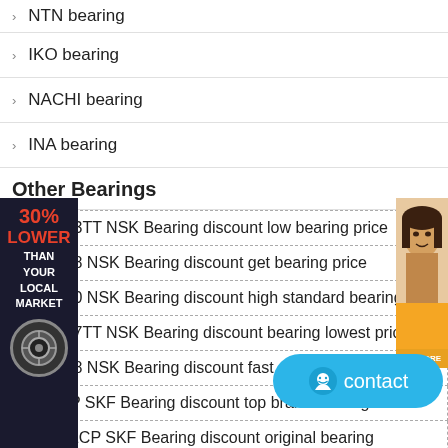NTN bearing
IKO bearing
NACHI bearing
INA bearing
Other Bearings
RNA4903TT NSK Bearing discount low bearing price
RNA4928 NSK Bearing discount get bearing price
RNA4960 NSK Bearing discount high standard bearing
RNA4907TT NSK Bearing discount bearing lowest price
RNA4938 NSK Bearing discount fast shipping bearing
7302BEP SKF Bearing discount top brand bearing
NJ2316ECP SKF Bearing discount original bearing
YAT207 SKF Bearing discount reliable bearing
68/950/1200 NTN Bearing discount bearing pro...
NJ336-E-TB-M1 FAG Bearing discount compare price bearing
[Figure (infographic): Left side ad banner: dark background with text '30% LOWER THAN YOUR LOCAL MARKET' in red and white, with a circular bearing logo at bottom]
[Figure (photo): Right side ad banner: orange background showing a woman's face photo with a button below]
[Figure (infographic): Blue contact button with smiley face icon and text 'contact']